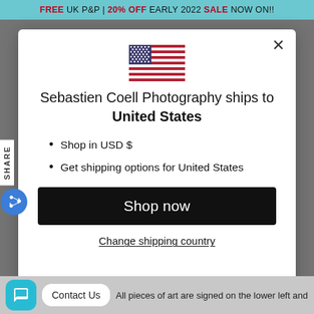FREE UK P&P | 20% OFF EARLY 2022 SALE NOW ON!!
[Figure (illustration): US flag emoji/icon centered in modal]
Sebastien Coell Photography ships to United States
Shop in USD $
Get shipping options for United States
Shop now
Change shipping country
Contact Us
All pieces of art are signed on the lower left and